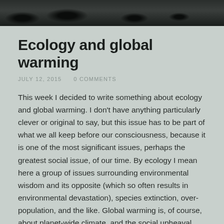[Figure (photo): Dark silhouette photo strip showing trees or cityscape against a dark sky]
Ecology and global warming
JULY 12, 2015    0 COMMENTS
This week I decided to write something about ecology and global warming. I don't have anything particularly clever or original to say, but this issue has to be part of what we all keep before our consciousness, because it is one of the most significant issues, perhaps the greatest social issue, of our time. By ecology I mean here a group of issues surrounding environmental wisdom and its opposite (which so often results in environmental devastation), species extinction, over-population, and the like. Global warming is, of course, about planet-wide climate, and the social upheaval that will result if climate change continues to grow.